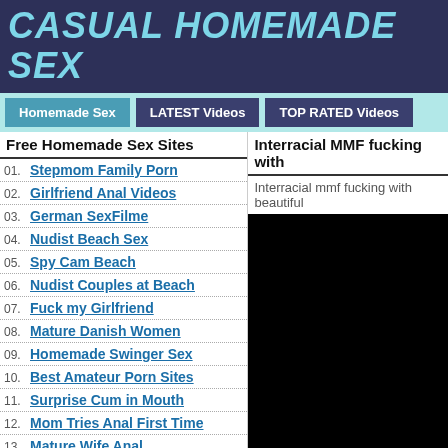CASUAL HOMEMADE SEX
Homemade Sex | LATEST Videos | TOP RATED Videos
Free Homemade Sex Sites
Interracial MMF fucking with
01. Stepmom Family Porn
02. Girlfriend Anal Videos
03. German SexFilme
04. Nudist Beach Sex
05. Spy Cam Beach
06. Nudist Couples at Beach
07. Fuck my Girlfriend
08. Mature Danish Women
09. Homemade Swinger Sex
10. Best Amateur Porn Sites
11. Surprise Cum in Mouth
12. Mom Tries Anal First Time
13. Mature Wife Anal
Interracial mmf fucking with beautiful
[Figure (photo): Black/dark video thumbnail]